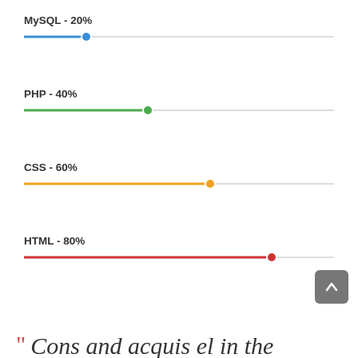[Figure (other): Four horizontal slider controls showing skill percentages: MySQL 20% (blue), PHP 40% (green), CSS 60% (orange), HTML 80% (red). Each slider has a filled track and a circular thumb marker.]
Cons and acquis el in the